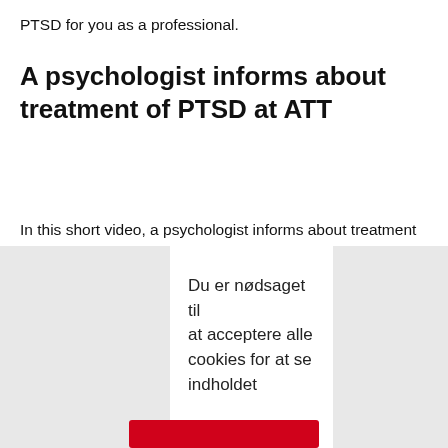PTSD for you as a professional.
A psychologist informs about treatment of PTSD at ATT
In this short video, a psychologist informs about treatment at the Department for Survivors of Trauma and Torture (ATT) in Southern Denmark, and how stabilizing- and trauma focused courses can support the recovery process of patients suffering from PTSD.
Du er nødsaget til at acceptere alle cookies for at se indholdet